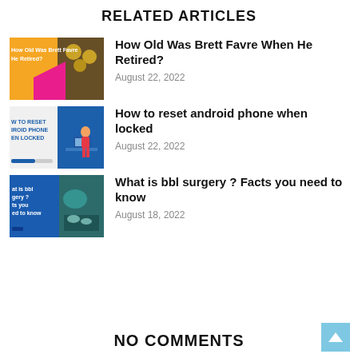RELATED ARTICLES
[Figure (photo): Thumbnail for Brett Favre article showing football players and orange/pink graphic overlay with text 'How Old Was Brett Favre When He Retired?']
How Old Was Brett Favre When He Retired?
August 22, 2022
[Figure (photo): Thumbnail for android phone reset article showing illustration of person at desk on blue background with text 'W TO RESET IROID PHONE EN LOCKED']
How to reset android phone when locked
August 22, 2022
[Figure (photo): Thumbnail for bbl surgery article showing surgical room photo and blue panel with text 'at is bbl gery ? ts you ed to know']
What is bbl surgery ? Facts you need to know
August 18, 2022
NO COMMENTS